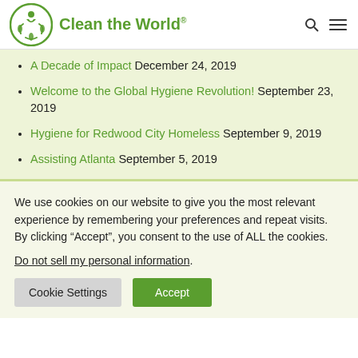Clean the World
A Decade of Impact December 24, 2019
Welcome to the Global Hygiene Revolution! September 23, 2019
Hygiene for Redwood City Homeless September 9, 2019
Assisting Atlanta September 5, 2019
We use cookies on our website to give you the most relevant experience by remembering your preferences and repeat visits. By clicking “Accept”, you consent to the use of ALL the cookies.
Do not sell my personal information.